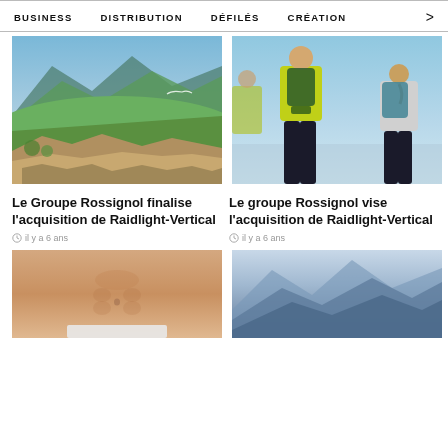BUSINESS   DISTRIBUTION   DÉFILÉS   CRÉATION   >
[Figure (photo): Mountain landscape with green hills, rocky terrain in the foreground, and mountains in the background.]
Le Groupe Rossignol finalise l'acquisition de Raidlight-Vertical
il y a 6 ans
[Figure (photo): People in yellow/green running gear with backpacks viewed from behind, looking out over a landscape.]
Le groupe Rossignol vise l'acquisition de Raidlight-Vertical
il y a 6 ans
[Figure (photo): Close-up of a person's torso/abdomen.]
[Figure (photo): Mountain silhouette landscape with blue hazy mountains.]